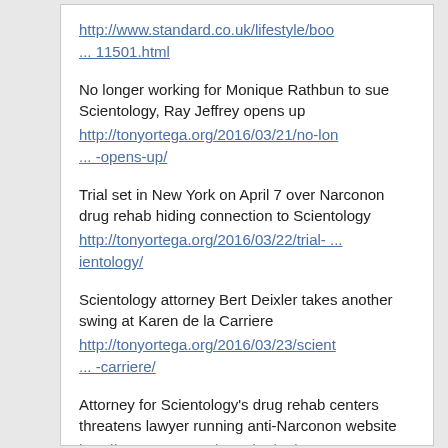http://www.standard.co.uk/lifestyle/boo... 11501.html
No longer working for Monique Rathbun to sue Scientology, Ray Jeffrey opens up http://tonyortega.org/2016/03/21/no-lon... -opens-up/
Trial set in New York on April 7 over Narconon drug rehab hiding connection to Scientology http://tonyortega.org/2016/03/22/trial- ... ientology/
Scientology attorney Bert Deixler takes another swing at Karen de la Carriere http://tonyortega.org/2016/03/23/scient... -carriere/
Attorney for Scientology's drug rehab centers threatens lawyer running anti-Narconon website http://tonyortega.org/2016/03/25/attorn... n-website/